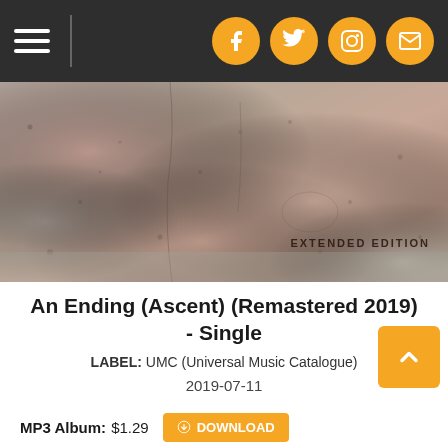Navigation bar with hamburger menu and social icons (Facebook, Twitter, Instagram, Email)
[Figure (photo): Abstract textured concrete or rock surface with pinkish-brown tones and cracks. Text overlay reads 'EXTENDED EDITION' in bottom-right corner.]
An Ending (Ascent) (Remastered 2019) - Single
LABEL: UMC (Universal Music Catalogue)
2019-07-11
MP3 Album: $1.29 DOWNLOAD